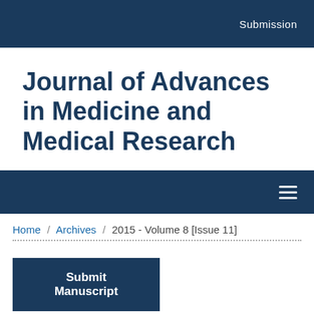Submission
Journal of Advances in Medicine and Medical Research
Home / Archives / 2015 - Volume 8 [Issue 11]
Submit Manuscript